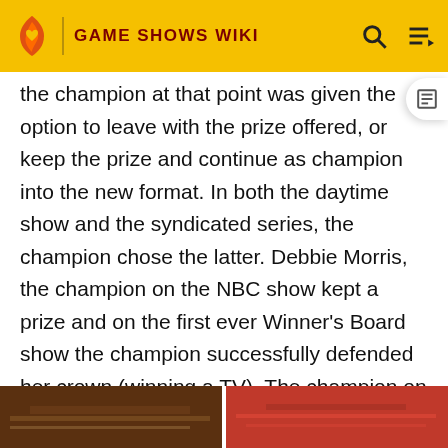GAME SHOWS WIKI
the champion at that point was given the option to leave with the prize offered, or keep the prize and continue as champion into the new format. In both the daytime show and the syndicated series, the champion chose the latter. Debbie Morris, the champion on the NBC show kept a prize and on the first ever Winner's Board show the champion successfully defended her crown (winning a TV). The champion on the syndicated show kept a $5,000 custom women's wardrobe (by French designer Ted Lapidus) and on the first syndicated Winner's Board show the champion successfully defended his crown (winning a Beverly Hills Shopping Spree).
[Figure (photo): Two partial thumbnail images at the bottom of the page — left image shows a dark brown/wooden game show set element, right image shows a red-themed game show set element]